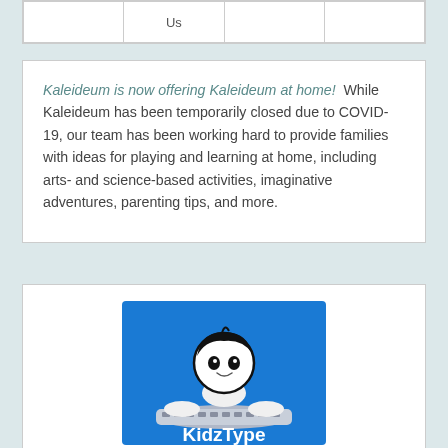|  | Us |  |  |
| --- | --- | --- | --- |
|  |
Kaleideum is now offering Kaleideum at home! While Kaleideum has been temporarily closed due to COVID-19, our team has been working hard to provide families with ideas for playing and learning at home, including arts- and science-based activities, imaginative adventures, parenting tips, and more.
[Figure (logo): KidzType logo: cartoon child at keyboard on blue background with white bold text 'KidzType']
KidzType
Virtual